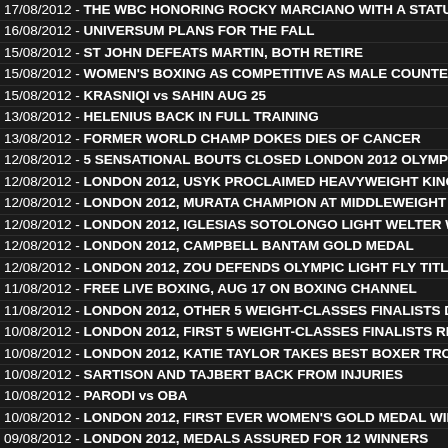17/08/2012 - THE WBC HONORING ROCKY MARCIANO WITH A STATU
16/08/2012 - UNIVERSUM PLANS FOR THE FALL
15/08/2012 - ST JOHN DEFEATS MARTIN, BOTH RETIRE
15/08/2012 - WOMEN'S BOXING AS COMPETITIVE AS MALE COUNTE
15/08/2012 - KRASNIQI vs SAHIN AUG 25
13/08/2012 - HELENIUS BACK IN FULL TRAINING
13/08/2012 - FORMER WORLD CHAMP DOKES DIES OF CANCER
12/08/2012 - 5 SENSATIONAL BOUTS CLOSED LONDON 2012 OLYMP
12/08/2012 - LONDON 2012, USYK PROCLAIMED HEAVYWEIGHT KING
12/08/2012 - LONDON 2012, MURATA CHAMPION AT MIDDLEWEIGHT
12/08/2012 - LONDON 2012, IGLESIAS SOTOLONGO LIGHT WELTER W
12/08/2012 - LONDON 2012, CAMPBELL BANTAM GOLD MEDAL
12/08/2012 - LONDON 2012, ZOU DEFENDS OLYMPIC LIGHT FLY TITLE
11/08/2012 - FREE LIVE BOXING, AUG 17 ON BOXING CHANNEL
11/08/2012 - LONDON 2012, OTHER 5 WEIGHT-CLASSES FINALISTS D
10/08/2012 - LONDON 2012, FIRST 5 WEIGHT-CLASSES FINALISTS RE
10/08/2012 - LONDON 2012, KATIE TAYLOR TAKES BEST BOXER TRO
10/08/2012 - SARTISON AND TAJBERT BACK FROM INJURIES
10/08/2012 - PARODI vs OBA
10/08/2012 - LONDON 2012, FIRST EVER WOMEN'S GOLD MEDAL WIN
09/08/2012 - LONDON 2012, MEDALS ASSURED FOR 12 WINNERS
09/08/2012 - LONDON 2012, CLARESSA SHIELDS INTO FINAL
08/08/2012 - JAMIE MOORE TO 3RD BOXERS CHARITY FOOTBALL TO
08/08/2012 - LONDON 2012, CONLAN SECURES SEMI-FINAL PLACE
07/08/2012 - PIANTEA vs BOTHA
07/08/2012 - HEAVYWEIGHT BOXING IN HAMBURG
07/08/2012 - EE.EU WELTERWEIGHT TITLE IN BELGIUM